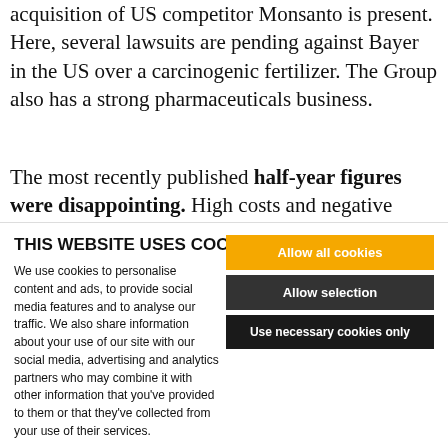acquisition of US competitor Monsanto is present. Here, several lawsuits are pending against Bayer in the US over a carcinogenic fertilizer. The Group also has a strong pharmaceuticals business.
The most recently published half-year figures were disappointing. High costs and negative exchange rate
THIS WEBSITE USES COOKIES
We use cookies to personalise content and ads, to provide social media features and to analyse our traffic. We also share information about your use of our site with our social media, advertising and analytics partners who may combine it with other information that you've provided to them or that they've collected from your use of their services.
Allow all cookies
Allow selection
Use necessary cookies only
Necessary | Preferences | Statistics | Marketing | Show details